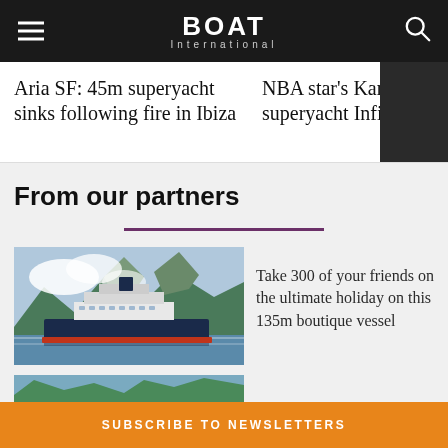BOAT International
Aria SF: 45m superyacht sinks following fire in Ibiza
NBA star's Kanū superyacht Infinity launched
From our partners
[Figure (photo): Large cruise ship sailing through a fjord with mountains and clouds in the background]
Take 300 of your friends on the ultimate holiday on this 135m boutique vessel
[Figure (photo): Partial view of a second nautical/coastal image]
SUBSCRIBE TO NEWSLETTERS